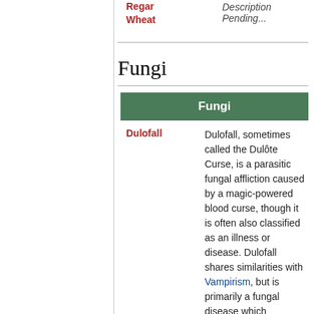Regar Wheat
Description Pending...
Fungi
| Fungi |
| --- |
| Dulofall | Dulofall, sometimes called the Dulôte Curse, is a parasitic fungal affliction caused by a magic-powered blood curse, though it is often also classified as an illness or disease. Dulofall shares similarities with Vampirism, but is primarily a fungal disease which changes the host both physically and |